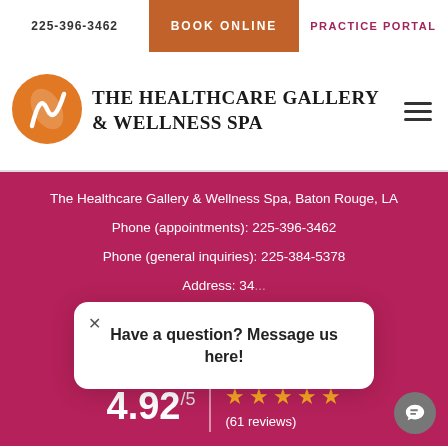225-396-3462  |  BOOK ONLINE  |  PRACTICE PORTAL
[Figure (logo): The Healthcare Gallery & Wellness Spa logo with orange circle and stylized W mark]
THE HEALTHCARE GALLERY & WELLNESS SPA
The Healthcare Gallery & Wellness Spa, Baton Rouge, LA
Phone (appointments): 225-396-3462
Phone (general inquiries): 225-384-5378
Address: 34... [partially obscured]
Have a question? Message us here!
4.92/5  (61 reviews)